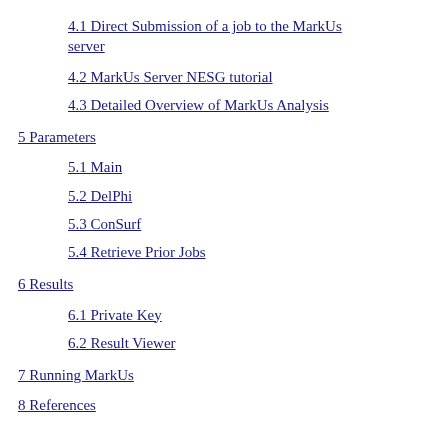4.1 Direct Submission of a job to the MarkUs server
4.2 MarkUs Server NESG tutorial
4.3 Detailed Overview of MarkUs Analysis
5 Parameters
5.1 Main
5.2 DelPhi
5.3 ConSurf
5.4 Retrieve Prior Jobs
6 Results
6.1 Private Key
6.2 Result Viewer
7 Running MarkUs
8 References